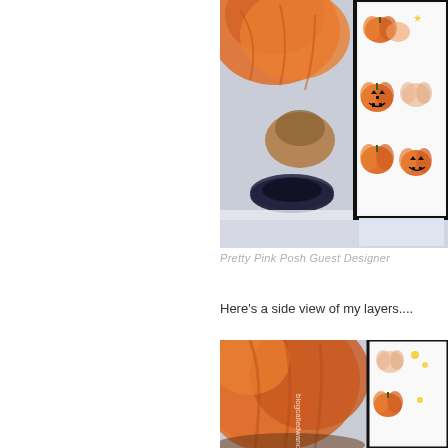[Figure (photo): Close-up photo of Halloween craft scene with orange pumpkins, black washi tape roll, white surface, and a handmade card with pumpkin stickers and jack-o-lantern images. Partially cropped on the right side.]
Pretty Pink Posh Guest Designer
Here's a side view of my layers....
[Figure (photo): Second close-up photo of the same Halloween craft scene showing orange pumpkins and the side of a handmade card with pumpkin stickers. Has watermark text 'blogcalledwanda.com' rotated vertically on the left side of the photo.]